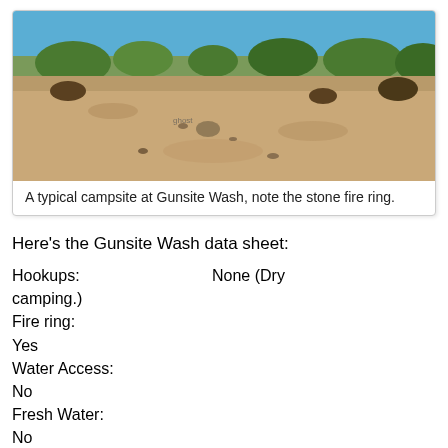[Figure (photo): A desert campsite at Gunsite Wash, showing sandy ground with sparse desert shrubs and trees, and a blue sky in the background. A stone fire ring is barely visible in the center-left of the image.]
A typical campsite at Gunsite Wash, note the stone fire ring.
Here's the Gunsite Wash data sheet:
Hookups: None (Dry camping.)
Fire ring: Yes
Water Access: No
Fresh Water: No
Trash Service: No (Pack in, pack out.)